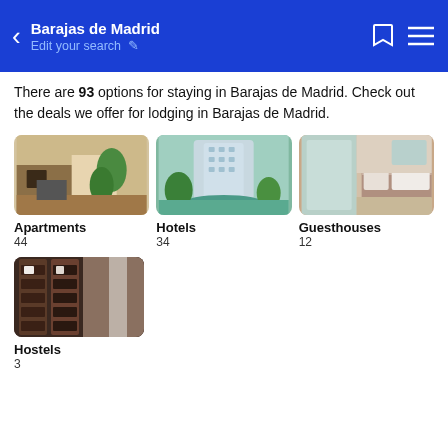Barajas de Madrid — Edit your search
There are 93 options for staying in Barajas de Madrid. Check out the deals we offer for lodging in Barajas de Madrid.
[Figure (photo): Interior of an apartment with warm lighting, plants, TV, and guitar]
[Figure (photo): Exterior of a hotel tower with pool and palm trees]
[Figure (photo): Modern guesthouse bedroom with large windows and wooden bed frame]
Apartments
44
Hotels
34
Guesthouses
12
[Figure (photo): Dark interior of a hostel with wooden bunk beds and shelving]
Hostels
3